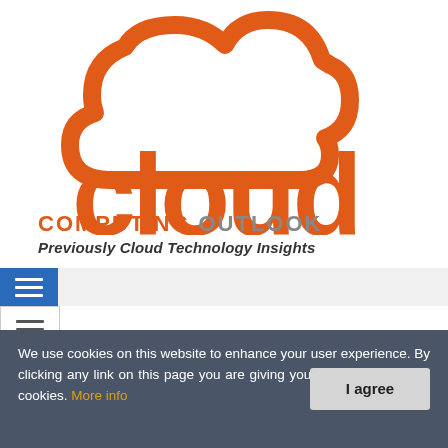[Figure (logo): Cloud Computing Outlook logo — orange cloud shape above the word 'cloud' in large orange letters, with 'COMPUTING' in orange bold caps and 'OUTLOOK' in gray bold caps below]
Previously Cloud Technology Insights
[Figure (other): Blue hamburger menu button (three white horizontal lines on blue background) in navigation bar]
[Figure (other): Secondary hamburger menu icon (three dark lines) in white box with border]
Home » News
We use cookies on this website to enhance your user experience. By clicking any link on this page you are giving your to set cookies. More info